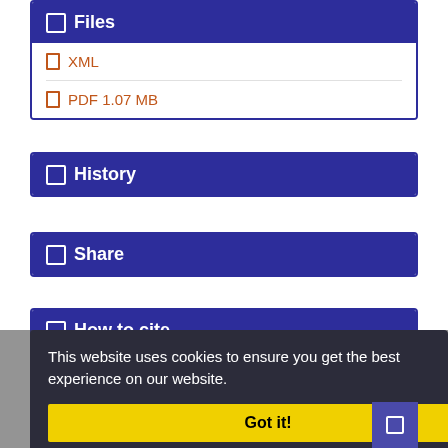Files
XML
PDF 1.07 MB
History
Share
How to cite
This website uses cookies to ensure you get the best experience on our website.
Article View: 1,687
Got it!
PDF Download: 1,274